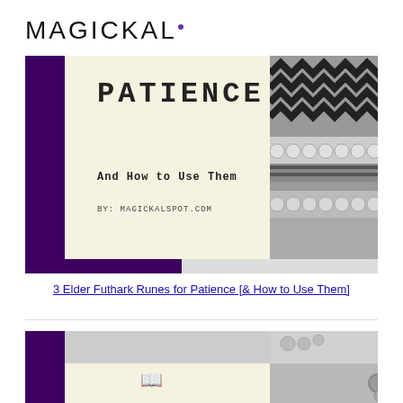MAGICKAL·
[Figure (infographic): Article card for '3 Elder Futhark Runes for Patience'. Dark purple L-shaped border on left and bottom. Cream/off-white background with 'PATIENCE' in bold monospace uppercase, subtitle 'And How to Use Them', byline 'BY: MAGICKALSPOT.COM'. Right side shows a black and white photo of textured fabric with zigzag and pom-pom patterns.]
3 Elder Futhark Runes for Patience [& How to Use Them]
[Figure (infographic): Partial article card with dark purple L-shaped border on left and bottom. Cream background with a small book icon visible. Right side shows gray textured fabric photo with rope/macrame elements.]